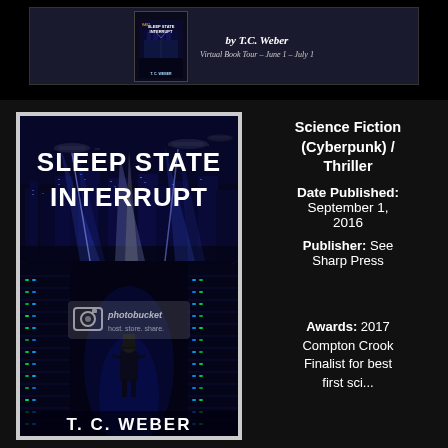[Figure (illustration): Top banner showing a book tour promotional banner for a book by T.C. Weber, with a small book thumbnail on the left and text 'Virtual Book Tour - June 1 - July 1' on the right]
[Figure (photo): Book cover for 'Sleep State Interrupt' by T.C. Weber. Cyberpunk cover showing a long corridor of computer servers with a figure standing in the distance, city skyline with spotlights and futuristic aircraft above, dark blue tones. Title text 'SLEEP STATE INTERRUPT' in large white bold letters at top, author name 'T. C. WEBER' at bottom. A Photobucket watermark is visible.]
Science Fiction (Cyberpunk) / Thriller
Date Published: September 1, 2016
Publisher: See Sharp Press
Awards: 2017 Compton Crook Finalist for best first sci...